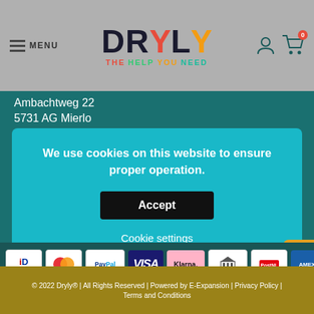[Figure (screenshot): Dryly website header with hamburger MENU button on left, Dryly logo in center, user and cart icons on right, on grey background]
Ambachtweg 22
5731 AG Mierlo
We use cookies on this website to ensure proper operation.
Accept
Cookie settings
[Figure (screenshot): Payment method icons: iDEAL, Mastercard, PayPal, VISA, Klarna, bank transfer, PostNL, American Express]
© 2022 Dryly® | All Rights Reserved | Powered by E-Expansion | Privacy Policy | Terms and Conditions